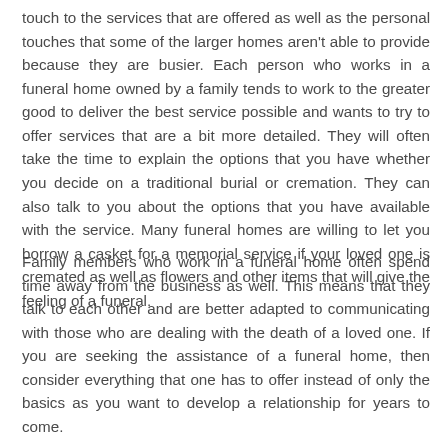touch to the services that are offered as well as the personal touches that some of the larger homes aren't able to provide because they are busier. Each person who works in a funeral home owned by a family tends to work to the greater good to deliver the best service possible and wants to try to offer services that are a bit more detailed. They will often take the time to explain the options that you have whether you decide on a traditional burial or cremation. They can also talk to you about the options that you have available with the service. Many funeral homes are willing to let you borrow a casket for a memorial service if your loved one is cremated as well as flowers and other items that will give the feeling of a funeral.
Family members who work in a funeral home often spend time away from the business as well. This means that they talk to each other and are better adapted to communicating with those who are dealing with the death of a loved one. If you are seeking the assistance of a funeral home, then consider everything that one has to offer instead of only the basics as you want to develop a relationship for years to come.